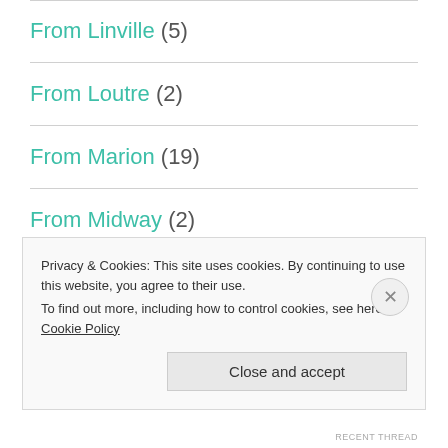From Linville (5)
From Loutre (2)
From Marion (19)
From Midway (2)
From Mosely's Bluff (1)
Privacy & Cookies: This site uses cookies. By continuing to use this website, you agree to their use.
To find out more, including how to control cookies, see here: Cookie Policy
RECENT THREAD